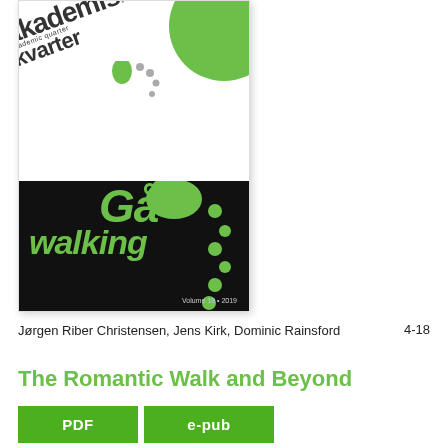[Figure (illustration): Cover of akademisk kvarter / academic quarter journal, Volume 19, 2019. Features the journal logo with 'akademisk kvarter' text tilted, a large green circle in top right, a black banner with green 'Gå walking' text and green footprint graphics, and a small green triangle at the bottom.]
Jørgen Riber Christensen, Jens Kirk, Dominic Rainsford
4-18
The Romantic Walk and Beyond
PDF
e-pub